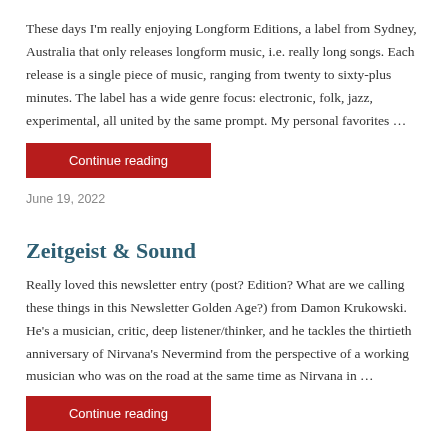These days I'm really enjoying Longform Editions, a label from Sydney, Australia that only releases longform music, i.e. really long songs. Each release is a single piece of music, ranging from twenty to sixty-plus minutes. The label has a wide genre focus: electronic, folk, jazz, experimental, all united by the same prompt. My personal favorites …
Continue reading
June 19, 2022
Zeitgeist & Sound
Really loved this newsletter entry (post? Edition? What are we calling these things in this Newsletter Golden Age?) from Damon Krukowski. He's a musician, critic, deep listener/thinker, and he tackles the thirtieth anniversary of Nirvana's Nevermind from the perspective of a working musician who was on the road at the same time as Nirvana in …
Continue reading